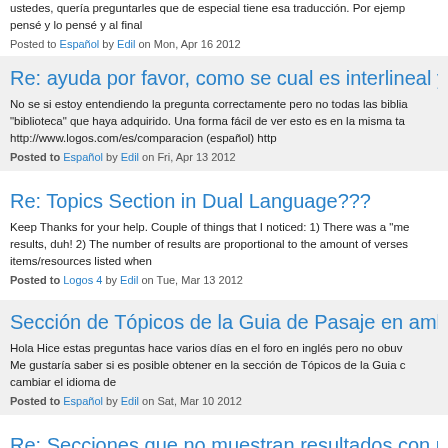ustedes, quería preguntarles que de especial tiene esa traducción. Por ejempo pensé y lo pensé y al final
Posted to Español by Edil on Mon, Apr 16 2012
Re: ayuda por favor, como se cual es interlineal y cu
No se si estoy entendiendo la pregunta correctamente pero no todas las biblia "biblioteca" que haya adquirido. Una forma fácil de ver esto es en la misma ta http://www.logos.com/es/comparacion (español) http
Posted to Español by Edil on Fri, Apr 13 2012
Re: Topics Section in Dual Language???
Keep Thanks for your help. Couple of things that I noticed: 1) There was a "me results, duh! 2) The number of results are proportional to the amount of verses items/resources listed when
Posted to Logos 4 by Edil on Tue, Mar 13 2012
Sección de Tópicos de la Guia de Pasaje en ambos
Hola Hice estas preguntas hace varios días en el foro en inglés pero no obuv Me gustaría saber si es posible obtener en la sección de Tópicos de la Guia c cambiar el idioma de
Posted to Español by Edil on Sat, Mar 10 2012
Re: Secciones que no muestran resultados con pala
Terminé adquiriendo el "bundle" Original Languages ya que no es un problem